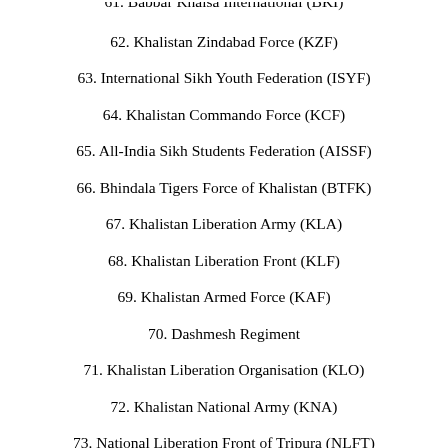61. Babbar Khalsa International (BKI)
62. Khalistan Zindabad Force (KZF)
63. International Sikh Youth Federation (ISYF)
64. Khalistan Commando Force (KCF)
65. All-India Sikh Students Federation (AISSF)
66. Bhindala Tigers Force of Khalistan (BTFK)
67. Khalistan Liberation Army (KLA)
68. Khalistan Liberation Front (KLF)
69. Khalistan Armed Force (KAF)
70. Dashmesh Regiment
71. Khalistan Liberation Organisation (KLO)
72. Khalistan National Army (KNA)
73. National Liberation Front of Tripura (NLFT)
74. All Tripura Tiger Force (ATTF)